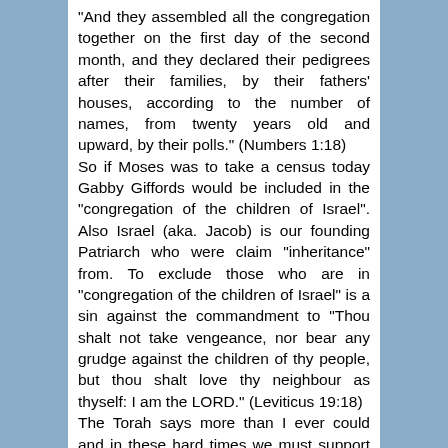"And they assembled all the congregation together on the first day of the second month, and they declared their pedigrees after their families, by their fathers' houses, according to the number of names, from twenty years old and upward, by their polls." (Numbers 1:18) So if Moses was to take a census today Gabby Giffords would be included in the "congregation of the children of Israel". Also Israel (aka. Jacob) is our founding Patriarch who were claim "inheritance" from. To exclude those who are in "congregation of the children of Israel" is a sin against the commandment to "Thou shalt not take vengeance, nor bear any grudge against the children of thy people, but thou shalt love thy neighbour as thyself: I am the LORD." (Leviticus 19:18) The Torah says more than I ever could and in these hard times we must support and love our brothers and sisters and not bear false grudges against them because we are spiteful that their fathers have married a stranger. Joseph, Moses, and Boaz (father of David)